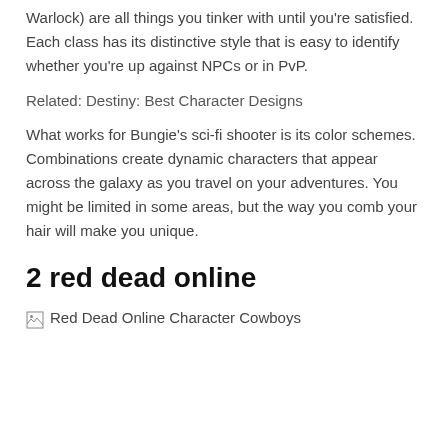Warlock) are all things you tinker with until you're satisfied. Each class has its distinctive style that is easy to identify whether you're up against NPCs or in PvP.
Related: Destiny: Best Character Designs
What works for Bungie's sci-fi shooter is its color schemes. Combinations create dynamic characters that appear across the galaxy as you travel on your adventures. You might be limited in some areas, but the way you comb your hair will make you unique.
2 red dead online
[Figure (photo): Broken image placeholder for Red Dead Online Character Cowboys]